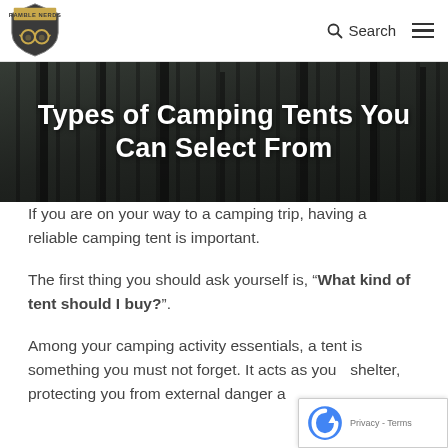RAMBLE NERDS | Search
[Figure (logo): Ramble Nerds logo: shield shape with glasses icon and banner ribbon]
Types of Camping Tents You Can Select From
If you are on your way to a camping trip, having a reliable camping tent is important.
The first thing you should ask yourself is, “What kind of tent should I buy?”.
Among your camping activity essentials, a tent is something you must not forget. It acts as your shelter, protecting you from external danger a...